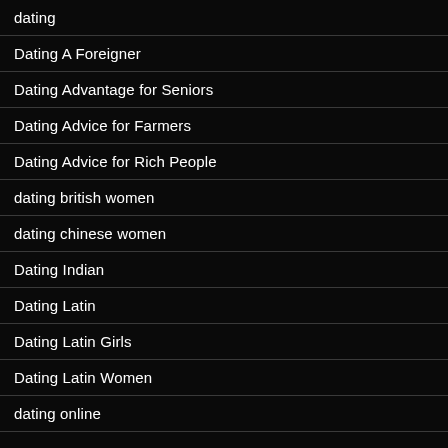dating
Dating A Foreigner
Dating Advantage for Seniors
Dating Advice for Farmers
Dating Advice for Rich People
dating british women
dating chinese women
Dating Indian
Dating Latin
Dating Latin Girls
Dating Latin Women
dating online